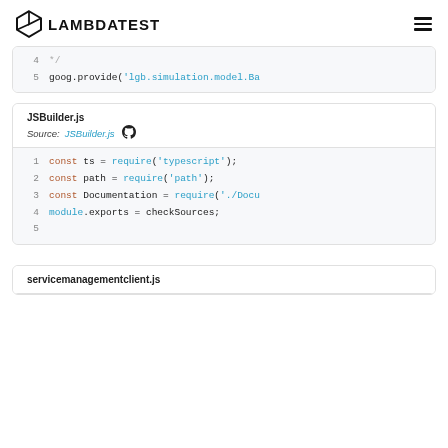LAMBDATEST
4   */
5   goog.provide('lgb.simulation.model.Ba
JSBuilder.js
Source: JSBuilder.js
1  const ts = require('typescript');
2  const path = require('path');
3  const Documentation = require('./Docu
4  module.exports = checkSources;
5
servicemanagementclient.js